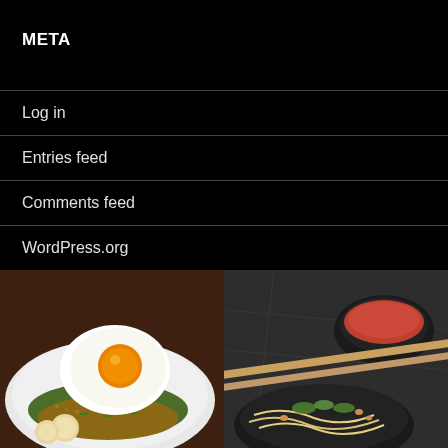META
Log in
Entries feed
Comments feed
WordPress.org
[Figure (photo): Fried rice dish on a banana leaf with a sunny side up egg on top, served on a white plate with fish cakes]
[Figure (photo): Bowl of noodle dish with herbs and peanuts, with chopsticks resting across, and a small bowl of chili sauce on a dark granite surface]